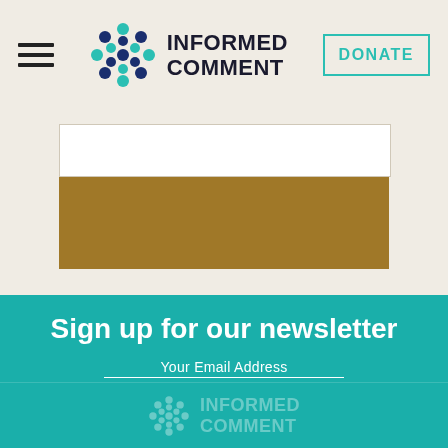INFORMED COMMENT | DONATE
[Figure (illustration): Article image with white top portion and golden-brown bottom portion inside a bordered container on a beige background]
Sign up for our newsletter
Your Email Address
SUBSCRIBE
[Figure (logo): Informed Comment logo (faded/watermark) in footer on teal background]